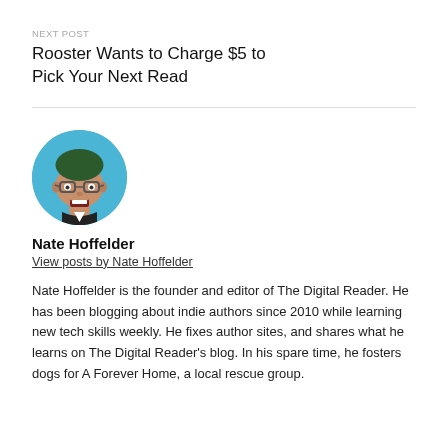NEXT POST
Rooster Wants to Charge $5 to Pick Your Next Read
[Figure (illustration): Circular avatar of Nate Hoffelder — an animated cartoon face with dark green hair and glasses on a light blue background]
Nate Hoffelder
View posts by Nate Hoffelder
Nate Hoffelder is the founder and editor of The Digital Reader. He has been blogging about indie authors since 2010 while learning new tech skills weekly. He fixes author sites, and shares what he learns on The Digital Reader's blog. In his spare time, he fosters dogs for A Forever Home, a local rescue group.